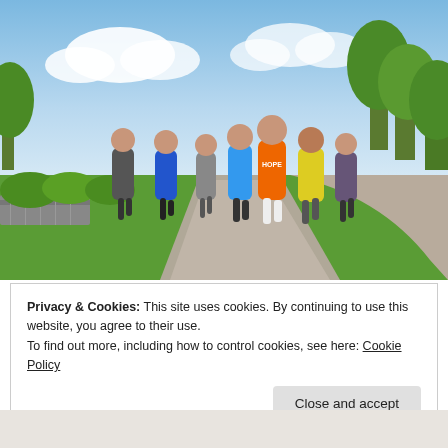[Figure (photo): A group of young runners jogging together on a paved path through a green park on a sunny day. The lead runner wears an orange shirt reading 'HOPE'. Others wear blue, yellow, grey, and purple athletic wear. Trees and grass visible, blue sky with clouds in background.]
Privacy & Cookies: This site uses cookies. By continuing to use this website, you agree to their use.
To find out more, including how to control cookies, see here: Cookie Policy
Close and accept